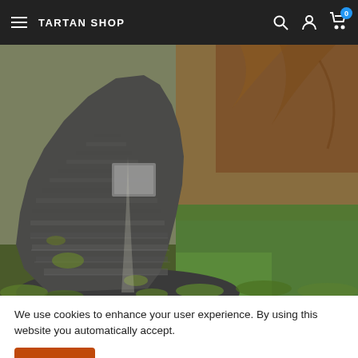TARTAN SHOP
[Figure (photo): A stone cairn monument with a metal plaque, surrounded by moss, green grass, and brown ferns/bracken on a Scottish hillside.]
We use cookies to enhance your user experience. By using this website you automatically accept.
Accept
Cairn marking the Appin Murder